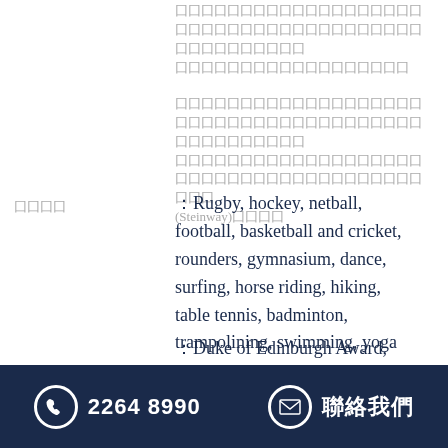（Chinese characters — greyed out text block 1）
（Chinese characters — greyed out text block 2 including (Steinway)）
（Chinese characters — label）: Rugby, hockey, netball, football, basketball and cricket, rounders, gymnasium, dance, surfing, horse riding, hiking, table tennis, badminton, trampolining, swimming, yoga
: Duke of Edinburgh Award, Ten Tors Challenge,
2264 8990  聯絡我們